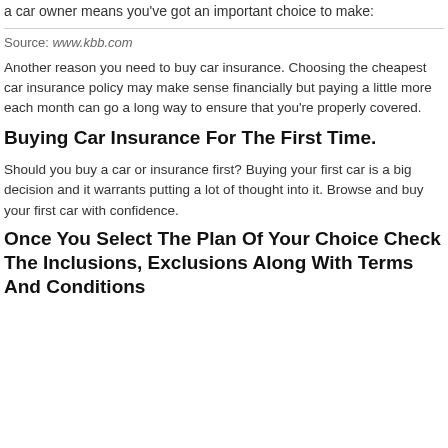a car owner means you've got an important choice to make:
Source: www.kbb.com
Another reason you need to buy car insurance. Choosing the cheapest car insurance policy may make sense financially but paying a little more each month can go a long way to ensure that you're properly covered.
Buying Car Insurance For The First Time.
Should you buy a car or insurance first? Buying your first car is a big decision and it warrants putting a lot of thought into it. Browse and buy your first car with confidence.
Once You Select The Plan Of Your Choice Check The Inclusions, Exclusions Along With Terms And Conditions